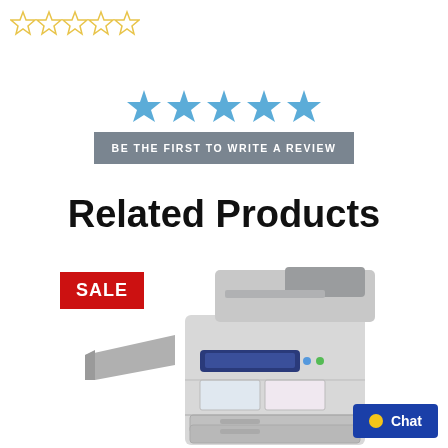[Figure (other): Five empty/outline rating stars in gold/yellow outline, top left corner]
[Figure (other): Five filled blue stars above a gray button with text BE THE FIRST TO WRITE A REVIEW]
Related Products
SALE
[Figure (photo): A large commercial office printer/copier (Xerox) with a side output tray, document feeder on top, and multiple paper drawers at the bottom. Color is light grey with blue control panel.]
Chat